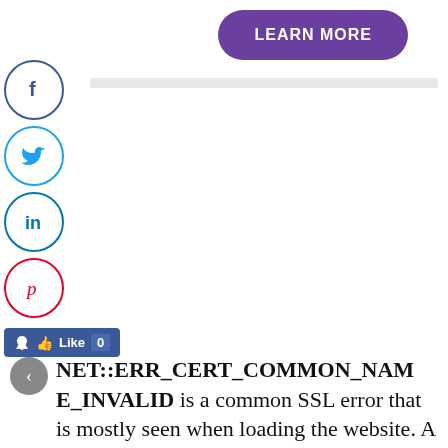[Figure (other): Purple 'LEARN MORE' button with rounded corners]
[Figure (infographic): Social media sharing icons (Facebook, Twitter, LinkedIn, Pinterest circles) and Facebook Like button]
NET::ERR_CERT_COMMON_NAME_INVALID is a common SSL error that is mostly seen when loading the website. A simple certificate